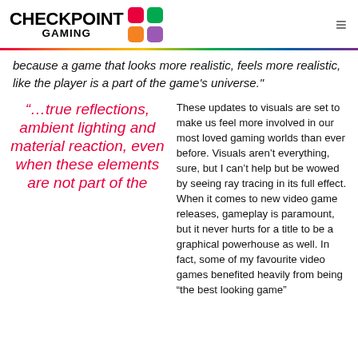CHECKPOINT GAMING
because a game that looks more realistic, feels more realistic, like the player is a part of the game's universe."
“…true reflections, ambient lighting and material reaction, even when these elements are not part of the
These updates to visuals are set to make us feel more involved in our most loved gaming worlds than ever before. Visuals aren’t everything, sure, but I can’t help but be wowed by seeing ray tracing in its full effect. When it comes to new video game releases, gameplay is paramount, but it never hurts for a title to be a graphical powerhouse as well. In fact, some of my favourite video games benefited heavily from being “the best looking game”